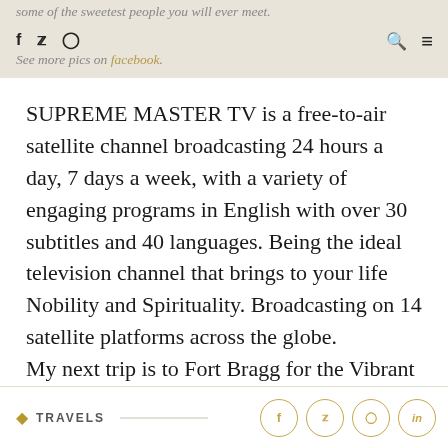some of the sweetest people you will ever meet. See more pics on facebook.
SUPREME MASTER TV is a free-to-air satellite channel broadcasting 24 hours a day, 7 days a week, with a variety of engaging programs in English with over 30 subtitles and 40 languages. Being the ideal television channel that brings to your life Nobility and Spirituality. Broadcasting on 14 satellite platforms across the globe. My next trip is to Fort Bragg for the Vibrant Living Expo and then on the Nevada for Burning Man. Should be fun!
TRAVELS